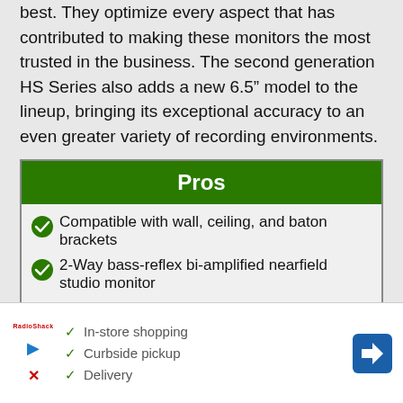best. They optimize every aspect that has contributed to making these monitors the most trusted in the business. The second generation HS Series also adds a new 6.5" model to the lineup, bringing its exceptional accuracy to an even greater variety of recording environments.
Pros
Compatible with wall, ceiling, and baton brackets
2-Way bass-reflex bi-amplified nearfield studio monitor
54Hz-30kHz frequency response
Cons
In-store shopping
Curbside pickup
Delivery